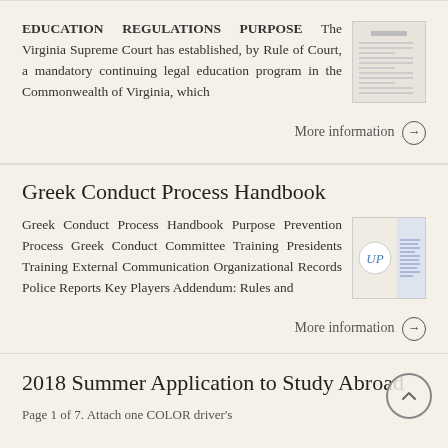EDUCATION REGULATIONS PURPOSE The Virginia Supreme Court has established, by Rule of Court, a mandatory continuing legal education program in the Commonwealth of Virginia, which
More information →
Greek Conduct Process Handbook
Greek Conduct Process Handbook Purpose Prevention Process Greek Conduct Committee Training Presidents Training External Communication Organizational Records Police Reports Key Players Addendum: Rules and
More information →
2018 Summer Application to Study Abroad
Page 1 of 7. Attach one COLOR driver's